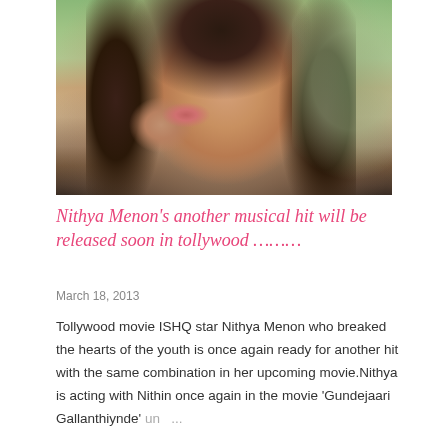[Figure (photo): Close-up photo of a smiling young woman with curly dark hair, hand near her face, wearing a salmon/red top, with a blurred green outdoor background.]
Nithya Menon's another musical hit will be released soon in tollywood ………
March 18, 2013
Tollywood movie ISHQ star Nithya Menon who breaked the hearts of the youth is once again ready for another hit with the same combination in her upcoming movie.Nithya is acting with Nithin once again in the movie 'Gundejaari Gallanthiynde' un... ...